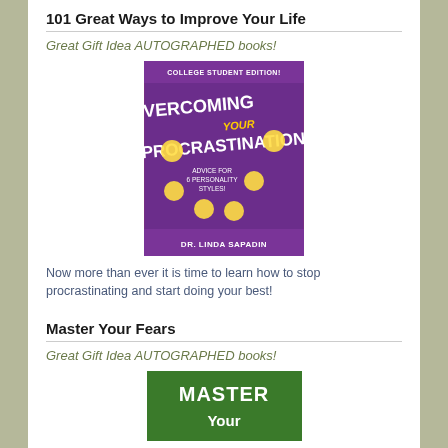101 Great Ways to Improve Your Life
Great Gift Idea AUTOGRAPHED books!
[Figure (photo): Book cover: Overcoming Your Procrastination - College Student Edition by Dr. Linda Sapadin. Purple background with emoji faces and text 'Advice for 6 Personality Styles!']
Now more than ever it is time to learn how to stop procrastinating and start doing your best!
Master Your Fears
Great Gift Idea AUTOGRAPHED books!
[Figure (photo): Book cover: Master Your (Fears) - partially visible green cover]